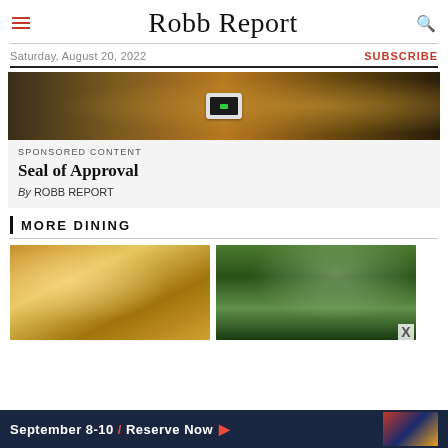Robb Report
Saturday, August 20, 2022
SUBSCRIBE
[Figure (photo): Smart home device with screen showing green indicator, on a wooden surface with warm amber lighting]
SPONSORED CONTENT
Seal of Approval
By ROBB REPORT
MORE DINING
[Figure (photo): Interior dining room with warm golden ceiling detail and ambient lighting]
[Figure (photo): Outdoor street dining scene with trees lining a city sidewalk, people walking]
[Figure (photo): Advertisement banner: September 8-10 / Reserve Now with city nightlife image]